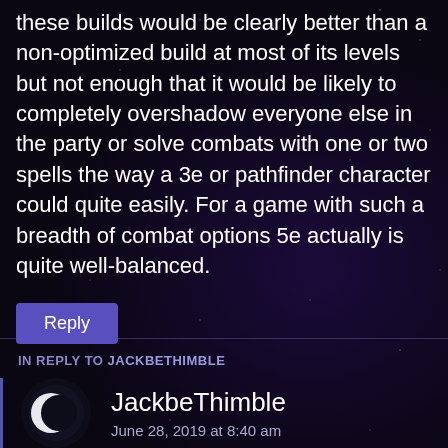these builds would be clearly better than a non-optimized build at most of its levels but not enough that it would be likely to completely overshadow everyone else in the party or solve combats with one or two spells the way a 3e or pathfinder character could quite easily. For a game with such a breadth of combat options 5e actually is quite well-balanced.
Reply
IN REPLY TO JACKBETHIMBLE
[Figure (illustration): Crescent moon avatar icon — dark circle with white crescent on left side]
JackbeThimble
June 28, 2019 at 8:40 am